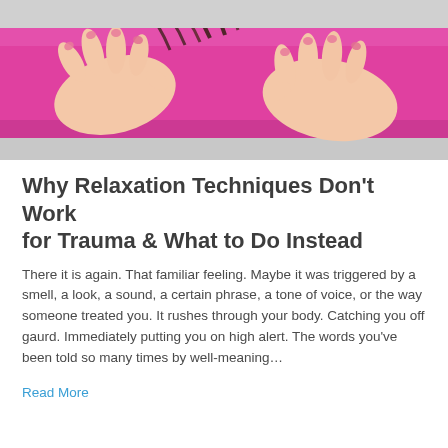[Figure (photo): Close-up photo of a person's hands pressed flat on a bright pink yoga mat, fingertips with light pink nail polish visible, background blurred gray floor.]
Why Relaxation Techniques Don't Work for Trauma & What to Do Instead
There it is again. That familiar feeling. Maybe it was triggered by a smell, a look, a sound, a certain phrase, a tone of voice, or the way someone treated you. It rushes through your body. Catching you off gaurd. Immediately putting you on high alert. The words you've been told so many times by well-meaning…
Read More